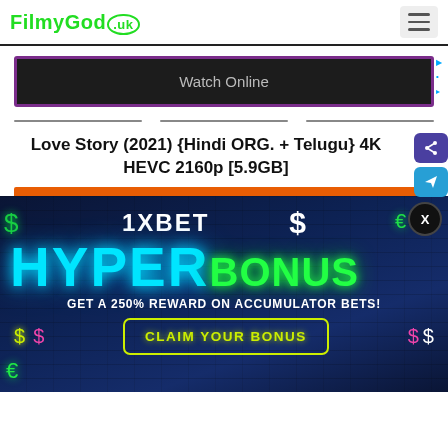FilmyGod.uk
Watch Online
Love Story (2021) {Hindi ORG. + Telugu} 4K HEVC 2160p [5.9GB]
[Figure (screenshot): 1XBET advertisement banner with HYPER BONUS text, cyan and green neon fonts on dark brick background. Text reads: GET A 250% REWARD ON ACCUMULATOR BETS! CLAIM YOUR BONUS button with yellow border.]